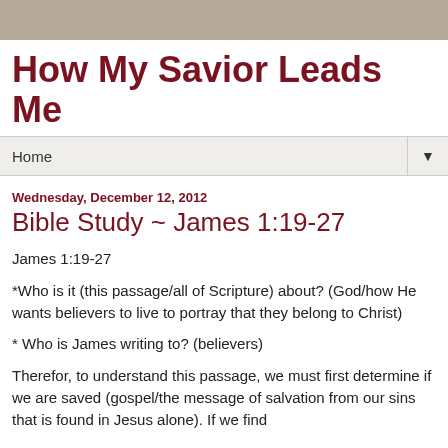How My Savior Leads Me
Home
Wednesday, December 12, 2012
Bible Study ~ James 1:19-27
James 1:19-27
*Who is it (this passage/all of Scripture) about? (God/how He wants believers to live to portray that they belong to Christ)
* Who is James writing to? (believers)
Therefor, to understand this passage, we must first determine if we are saved (gospel/the message of salvation from our sins that is found in Jesus alone). If we find